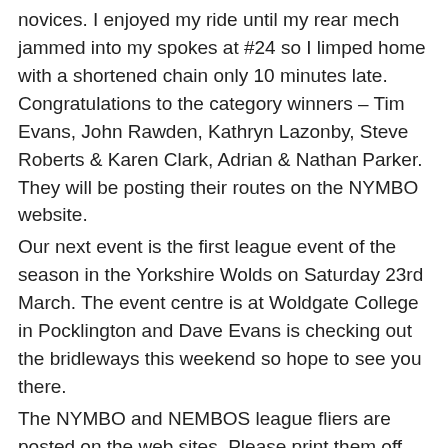novices. I enjoyed my ride until my rear mech jammed into my spokes at #24 so I limped home with a shortened chain only 10 minutes late. Congratulations to the category winners – Tim Evans, John Rawden, Kathryn Lazonby, Steve Roberts & Karen Clark, Adrian & Nathan Parker. They will be posting their routes on the NYMBO website.
Our next event is the first league event of the season in the Yorkshire Wolds on Saturday 23rd March. The event centre is at Woldgate College in Pocklington and Dave Evans is checking out the bridleways this weekend so hope to see you there.
The NYMBO and NEMBOS league fliers are posted on the web sites. Please print them off